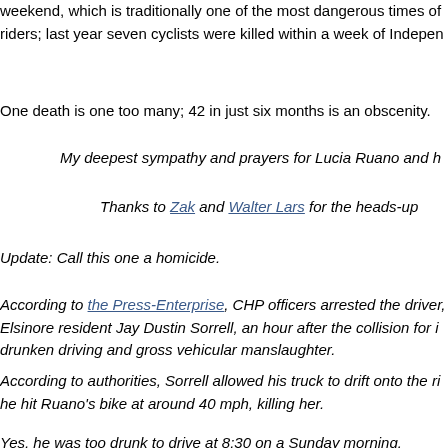weekend, which is traditionally one of the most dangerous times of riders; last year seven cyclists were killed within a week of Indepen
One death is one too many; 42 in just six months is an obscenity.
My deepest sympathy and prayers for Lucia Ruano and h
Thanks to Zak and Walter Lars for the heads-up
Update: Call this one a homicide.
According to the Press-Enterprise, CHP officers arrested the driver, Elsinore resident Jay Dustin Sorrell, an hour after the collision for i drunken driving and gross vehicular manslaughter.
According to authorities, Sorrell allowed his truck to drift onto the ri he hit Ruano's bike at around 40 mph, killing her.
Yes, he was too drunk to drive at 8:30 on a Sunday morning.
And now an innocent woman is dead because of it.
Share this: